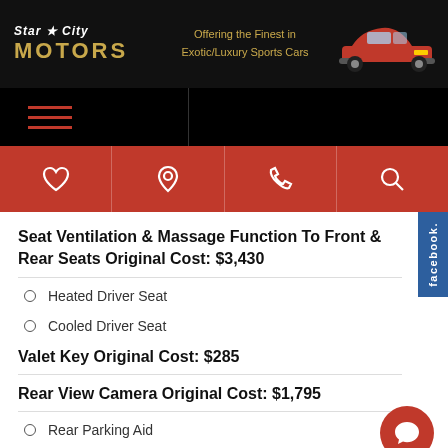Star City Motors — Offering the Finest in Exotic/Luxury Sports Cars
Seat Ventilation & Massage Function To Front & Rear Seats Original Cost: $3,430
Heated Driver Seat
Cooled Driver Seat
Valet Key Original Cost: $285
Rear View Camera Original Cost: $1,795
Rear Parking Aid